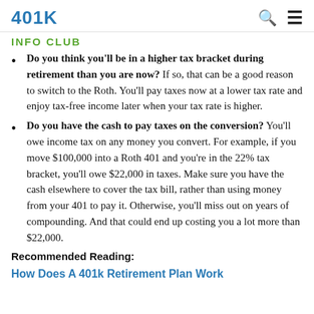401K INFO CLUB
Do you think you'll be in a higher tax bracket during retirement than you are now? If so, that can be a good reason to switch to the Roth. You'll pay taxes now at a lower tax rate and enjoy tax-free income later when your tax rate is higher.
Do you have the cash to pay taxes on the conversion? You'll owe income tax on any money you convert. For example, if you move $100,000 into a Roth 401 and you're in the 22% tax bracket, you'll owe $22,000 in taxes. Make sure you have the cash elsewhere to cover the tax bill, rather than using money from your 401 to pay it. Otherwise, you'll miss out on years of compounding. And that could end up costing you a lot more than $22,000.
Recommended Reading:
How Does A 401k Retirement Plan Work